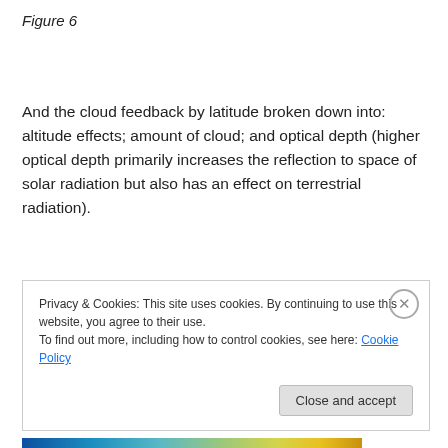Figure 6
And the cloud feedback by latitude broken down into: altitude effects; amount of cloud; and optical depth (higher optical depth primarily increases the reflection to space of solar radiation but also has an effect on terrestrial radiation).
Privacy & Cookies: This site uses cookies. By continuing to use this website, you agree to their use.
To find out more, including how to control cookies, see here: Cookie Policy
[Figure (other): Color gradient bar at bottom of page, transitioning from dark blue through cyan, green, yellow to orange/gold]